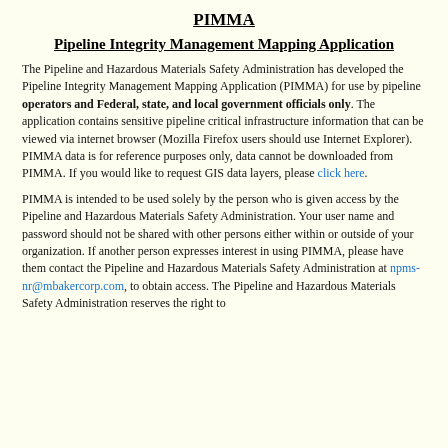PIMMA
Pipeline Integrity Management Mapping Application
The Pipeline and Hazardous Materials Safety Administration has developed the Pipeline Integrity Management Mapping Application (PIMMA) for use by pipeline operators and Federal, state, and local government officials only. The application contains sensitive pipeline critical infrastructure information that can be viewed via internet browser (Mozilla Firefox users should use Internet Explorer). PIMMA data is for reference purposes only, data cannot be downloaded from PIMMA. If you would like to request GIS data layers, please click here.
PIMMA is intended to be used solely by the person who is given access by the Pipeline and Hazardous Materials Safety Administration. Your user name and password should not be shared with other persons either within or outside of your organization. If another person expresses interest in using PIMMA, please have them contact the Pipeline and Hazardous Materials Safety Administration at npms-nr@mbakercorp.com, to obtain access. The Pipeline and Hazardous Materials Safety Administration reserves the right to